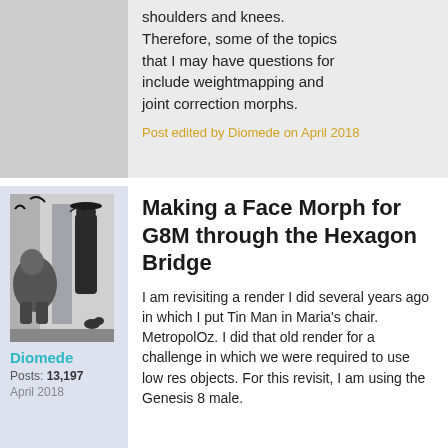shoulders and knees. Therefore, some of the topics that I may have questions for include weightmapping and joint correction morphs.
Post edited by Diomede on April 2018
[Figure (photo): Black and white artistic illustration used as user avatar for Diomede]
Diomede
Posts: 13,197
April 2018
Making a Face Morph for G8M through the Hexagon Bridge
I am revisiting a render I did several years ago in which I put Tin Man in Maria's chair. MetropolOz. I did that old render for a challenge in which we were required to use low res objects. For this revisit, I am using the Genesis 8 male.